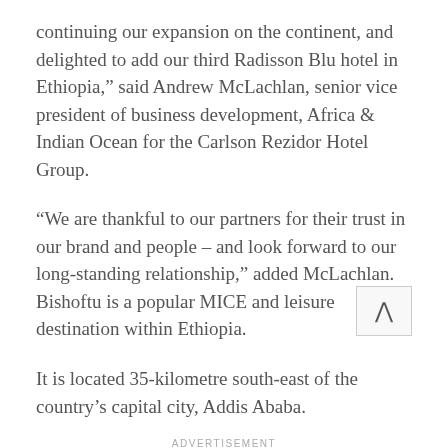continuing our expansion on the continent, and delighted to add our third Radisson Blu hotel in Ethiopia,” said Andrew McLachlan, senior vice president of business development, Africa & Indian Ocean for the Carlson Rezidor Hotel Group.
“We are thankful to our partners for their trust in our brand and people – and look forward to our long-standing relationship,” added McLachlan.
Bishoftu is a popular MICE and leisure destination within Ethiopia.
It is located 35-kilometre south-east of the country’s capital city, Addis Ababa.
ADVERTISEMENT
It is also within easy access of the country’s first